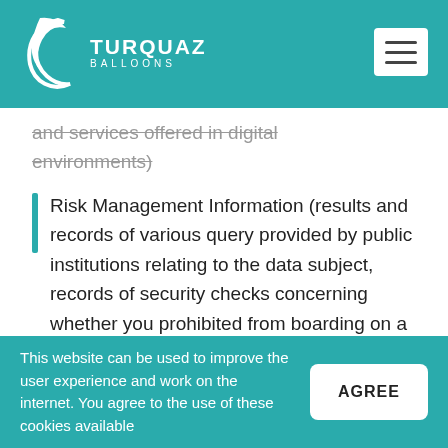TURQUAZ BALLOONS
and services offered in digital environments)
Risk Management Information (results and records of various query provided by public institutions relating to the data subject, records of security checks concerning whether you prohibited from boarding on a
This website can be used to improve the user experience and work on the internet. You agree to the use of these cookies available